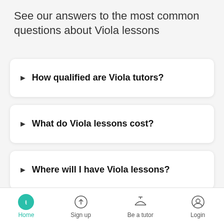See our answers to the most common questions about Viola lessons
How qualified are Viola tutors?
What do Viola lessons cost?
Where will I have Viola lessons?
What does it mean when a tutor is called "Toptutor"?
Home  Sign up  Be a tutor  Login